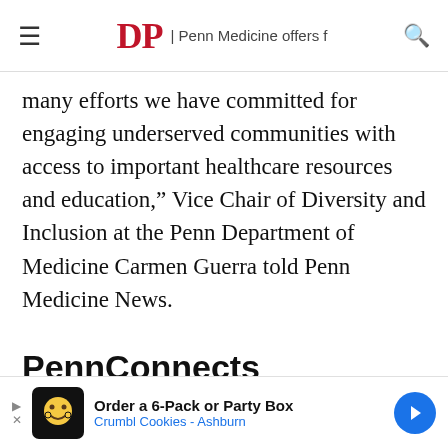DP | Penn Medicine offers f
many efforts we have committed for engaging underserved communities with access to important healthcare resources and education," Vice Chair of Diversity and Inclusion at the Penn Department of Medicine Carmen Guerra told Penn Medicine News.
PennConnects
[Figure (screenshot): PennConnects content area with upward chevron arrow and a light blue image tile on the left, a photo tile on the right showing partially visible faces/people]
[Figure (infographic): Advertisement banner: Order a 6-Pack or Party Box - Crumbl Cookies - Ashburn, with cookie mascot icon and blue navigation arrow]